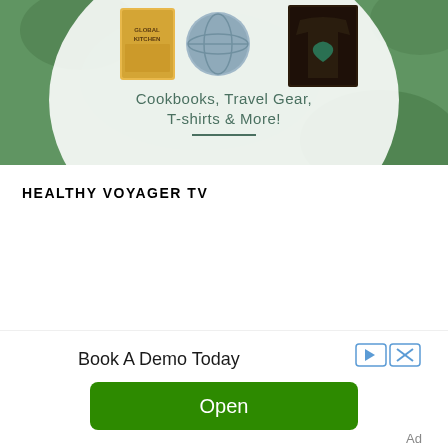[Figure (screenshot): Advertisement banner showing cookbooks, a travel gear item (globe), and a T-shirt on a green background with text 'Cookbooks, Travel Gear, T-shirts & More!' inside a white circular overlay]
HEALTHY VOYAGER TV
[Figure (screenshot): Advertisement with text 'Book A Demo Today' and ad controls icons (play arrow and X in blue), with a green 'Open' button below and 'Ad' label at bottom right]